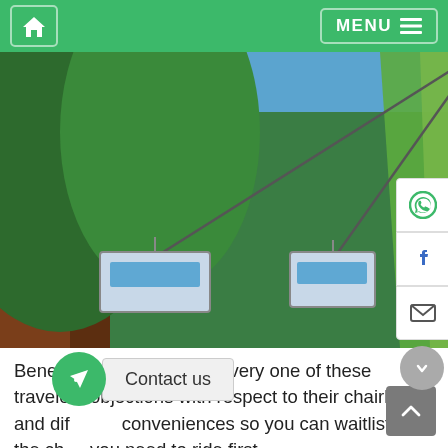Home | MENU
[Figure (photo): Chairlift cable car gondolas ascending through dense green forest trees on a sunny day]
Beneath, we'll talk about every one of these travelers objections with respect to their chairlifts and different conveniences so you can waitlist the chair you need to ride first.
Contact us